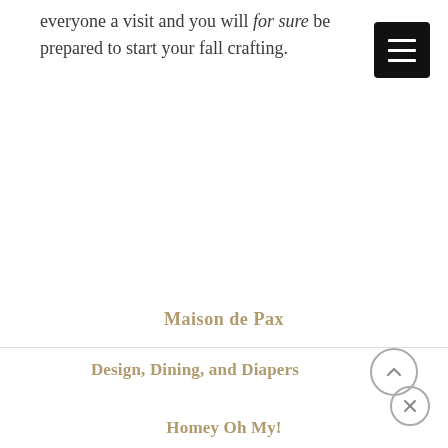everyone a visit and you will for sure be prepared to start your fall crafting.
[Figure (other): Hamburger menu button (three horizontal white lines on black rounded square background)]
Maison de Pax
Design, Dining, and Diapers
Homey Oh My!
[Figure (other): Up arrow chevron button in a circle (scroll to top)]
[Figure (other): Close/X button in a circle]